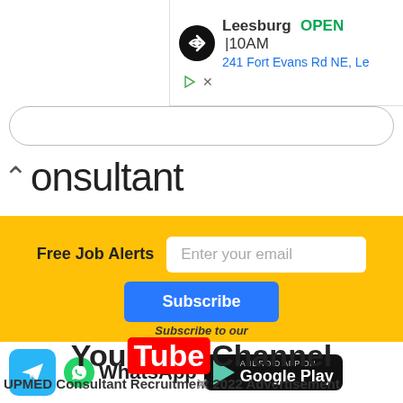[Figure (screenshot): Advertisement banner showing Leesburg store with OPEN status and address 241 Fort Evans Rd NE, Le...]
Consultant
Free Job Alerts
Enter your email
Subscribe
[Figure (logo): Telegram icon (blue square with paper plane)]
[Figure (logo): WhatsApp icon with WhatsApp text]
[Figure (logo): Android App on Google Play badge]
[Figure (logo): Subscribe to our YouTube Channel logo]
UPMED Consultant Recruitment 2022 Advertisement